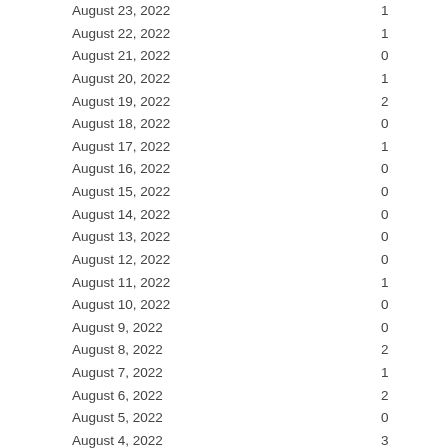| Date | Count |
| --- | --- |
| August 23, 2022 | 1 |
| August 22, 2022 | 1 |
| August 21, 2022 | 0 |
| August 20, 2022 | 1 |
| August 19, 2022 | 2 |
| August 18, 2022 | 0 |
| August 17, 2022 | 1 |
| August 16, 2022 | 0 |
| August 15, 2022 | 0 |
| August 14, 2022 | 0 |
| August 13, 2022 | 0 |
| August 12, 2022 | 0 |
| August 11, 2022 | 1 |
| August 10, 2022 | 0 |
| August 9, 2022 | 0 |
| August 8, 2022 | 2 |
| August 7, 2022 | 1 |
| August 6, 2022 | 2 |
| August 5, 2022 | 0 |
| August 4, 2022 | 3 |
| August 3, 2022 | 0 |
| August 2, 2022 | 0 |
| August 1, 2022 | 1 |
| July 31, 2022 |  |